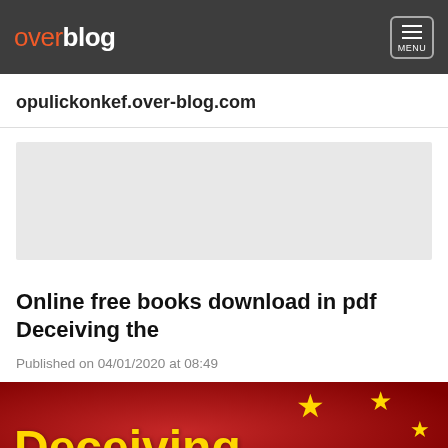overblog  MENU
opulickonkef.over-blog.com
[Figure (other): Gray advertisement placeholder banner]
Online free books download in pdf Deceiving the
Published on 04/01/2020 at 08:49
[Figure (photo): Red background with gold stars (Chinese flag style) and yellow text reading 'Deceiving']